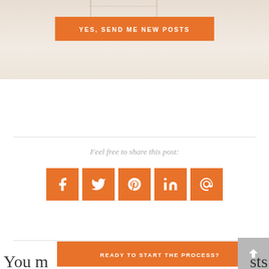[Figure (other): Top portion of a decorative image with warm/beige tones, partially visible]
YES, SEND ME NEW POSTS
Feel free to share this post:
[Figure (infographic): Five orange square social media share buttons: Facebook (f), Twitter (bird), Pinterest (P), LinkedIn (in), Email (@)]
READY TO START THE PROCESS?
You m...sts as